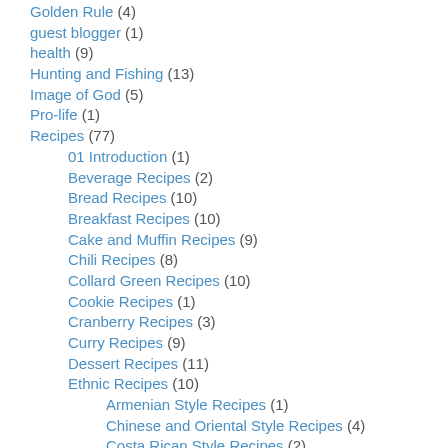Golden Rule (4)
guest blogger (1)
health (9)
Hunting and Fishing (13)
Image of God (5)
Pro-life (1)
Recipes (77)
01 Introduction (1)
Beverage Recipes (2)
Bread Recipes (10)
Breakfast Recipes (10)
Cake and Muffin Recipes (9)
Chili Recipes (8)
Collard Green Recipes (10)
Cookie Recipes (1)
Cranberry Recipes (3)
Curry Recipes (9)
Dessert Recipes (11)
Ethnic Recipes (10)
Armenian Style Recipes (1)
Chinese and Oriental Style Recipes (4)
Costa Rican Style Recipes (2)
Greek Style Recipes (3)
Holiday and Special Recipes (6)
Kale Recipes (6)